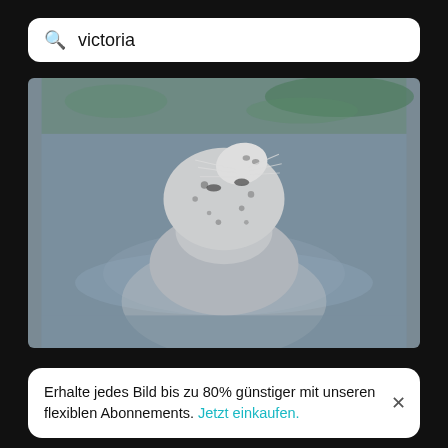victoria
[Figure (photo): A harbor seal poking its head above calm grey-blue water, looking upward with white whiskers and dark speckled fur, with green water reflections at the top of the image.]
Erhalte jedes Bild bis zu 80% günstiger mit unseren flexiblen Abonnements. Jetzt einkaufen.